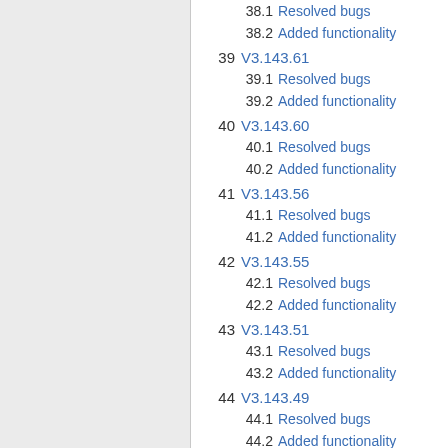38.1  Resolved bugs
38.2  Added functionality
39  V3.143.61
39.1  Resolved bugs
39.2  Added functionality
40  V3.143.60
40.1  Resolved bugs
40.2  Added functionality
41  V3.143.56
41.1  Resolved bugs
41.2  Added functionality
42  V3.143.55
42.1  Resolved bugs
42.2  Added functionality
43  V3.143.51
43.1  Resolved bugs
43.2  Added functionality
44  V3.143.49
44.1  Resolved bugs
44.2  Added functionality